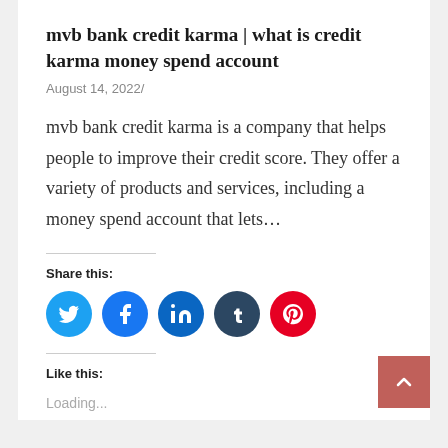mvb bank credit karma | what is credit karma money spend account
August 14, 2022/
mvb bank credit karma is a company that helps people to improve their credit score. They offer a variety of products and services, including a money spend account that lets…
Share this:
[Figure (infographic): Social share buttons: Twitter (blue), Facebook (blue), LinkedIn (blue), Tumblr (dark navy), Pinterest (red)]
Like this:
Loading...